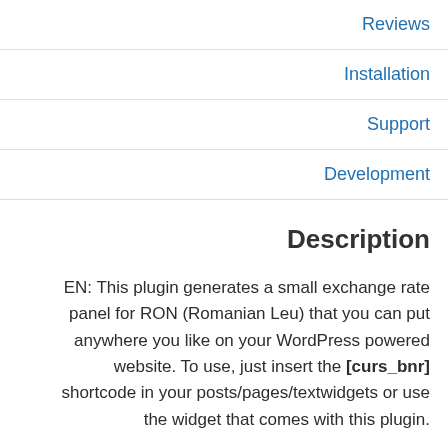Reviews
Installation
Support
Development
Description
EN: This plugin generates a small exchange rate panel for RON (Romanian Leu) that you can put anywhere you like on your WordPress powered website. To use, just insert the [curs_bnr] shortcode in your posts/pages/textwidgets or use the widget that comes with this plugin.